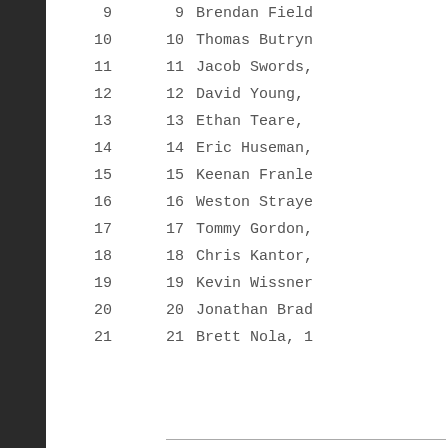9  9  Brendan Field
10  10  Thomas Butryn
11  11  Jacob Swords,
12  12  David Young,
13  13  Ethan Teare,
14  14  Eric Huseman,
15  15  Keenan Franle
16  16  Weston Straye
17  17  Tommy Gordon,
18  18  Chris Kantor,
19  19  Kevin Wissner
20  20  Jonathan Brad
21  21  Brett Nola, 1